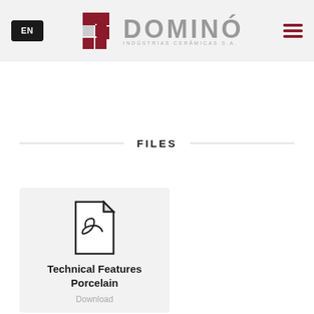EN | DOMINÓ INDÚSTRIAS CERÂMICAS S.A. | menu
FILES
[Figure (other): PDF file icon]
Technical Features Porcelain
Download